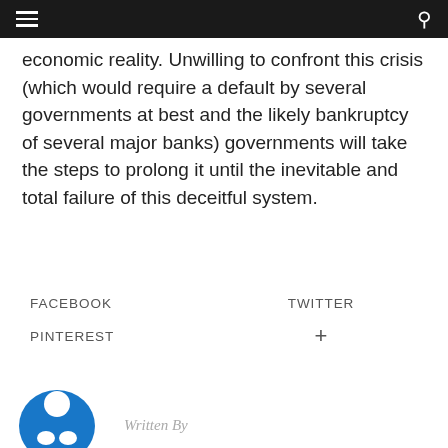≡  [navigation bar]  🔍
economic reality. Unwilling to confront this crisis (which would require a default by several governments at best and the likely bankruptcy of several major banks) governments will take the steps to prolong it until the inevitable and total failure of this deceitful system.
FACEBOOK   TWITTER   PINTEREST   +
Written By